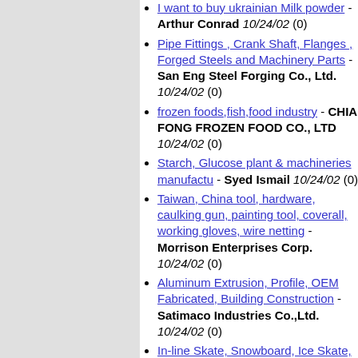I want to buy ukrainian Milk powder - Arthur Conrad 10/24/02 (0)
Pipe Fittings , Crank Shaft, Flanges , Forged Steels and Machinery Parts - San Eng Steel Forging Co., Ltd. 10/24/02 (0)
frozen foods,fish,food industry - CHIA FONG FROZEN FOOD CO., LTD 10/24/02 (0)
Starch, Glucose plant & machineries manufactu - Syed Ismail 10/24/02 (0)
Taiwan, China tool, hardware, caulking gun, painting tool, coverall, working gloves, wire netting - Morrison Enterprises Corp. 10/24/02 (0)
Aluminum Extrusion, Profile, OEM Fabricated, Building Construction - Satimaco Industries Co.,Ltd. 10/24/02 (0)
In-line Skate, Snowboard, Ice Skate, Skateboard - PLAYMAKER CO., LTD 10/24/02 (0)
Packaging, Shrink PVC, Anti-Static - Yun Chi Plastics Fabrication Co., Ltd 10/24/02 (0)
DOT QDGY brake hose - DONG /ZHANG QI 10/24/02 (0)
Aroma Candle(Pillar) - O-Kyun Kweon